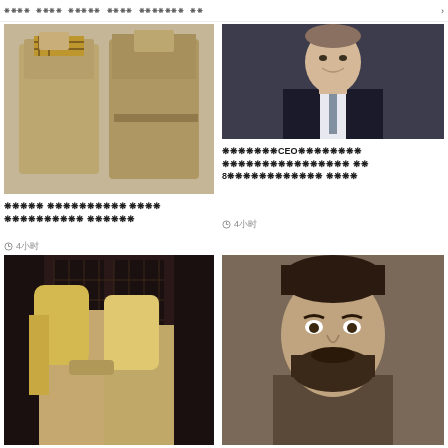❋❋❋❋  ❋❋❋❋  ❋❋❋❋❋  ❋❋❋❋  ❋❋❋❋❋❋❋  ❋❋  >
[Figure (photo): Two people wearing beige trench coats, viewed from behind, with plaid scarves at the neck]
❋❋❋❋❋ ❋❋❋❋❋❋❋❋❋❋ ❋❋❋❋  ❋❋❋❋❋❋❋❋❋❋ ❋❋❋❋❋❋
◷  4小时
[Figure (photo): Portrait of smiling man in dark suit and tie against dark background]
❋❋❋❋❋❋❋CEO❋❋❋❋❋❋❋❋ ❋❋❋❋❋❋❋❋❋❋❋❋❋❋❋❋ ❋❋  8❋❋❋❋❋❋❋❋❋❋❋❋ ❋❋❋❋
◷  4小时
[Figure (photo): Two women with long hair seen from behind, embracing, standing against dark ornate background in beige coats]
[Figure (photo): Close-up portrait of bearded man against grey background]